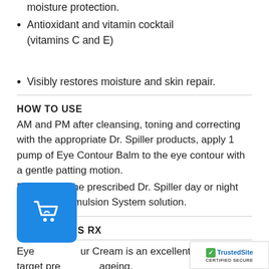moisture protection.
Antioxidant and vitamin cocktail (vitamins C and E)
Visibly restores moisture and skin repair.
HOW TO USE
AM and PM after cleansing, toning and correcting with the appropriate Dr. Spiller products, apply 1 pump of Eye Contour Balm to the eye contour with a gentle patting motion.
Follow with the prescribed Dr. Spiller day or night HY-TEC™ Emulsion System solution.
DR SPILLERS RX
Eye Contour Cream is an excellent solution to target premature ageing.
Eye Contour Cream may be safely used by co...